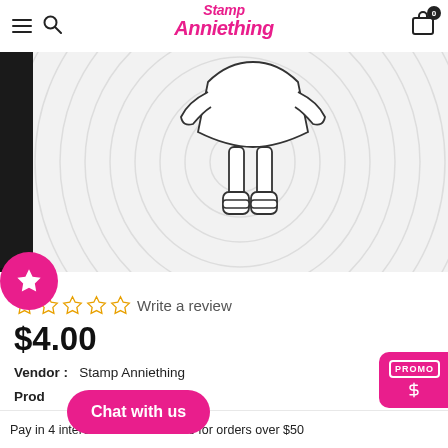Stamp Anniething
[Figure (illustration): Partial product image of a cartoon character doll with concentric circle background, shown from waist down with boots/shoes]
☆☆☆☆☆ Write a review
$4.00
Vendor: Stamp Anniething
Product Type: Digital Artwork
Chat with us
Pay in 4 interest-free installments for orders over $50